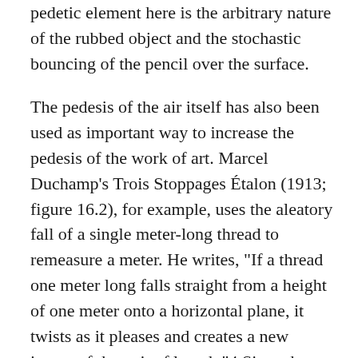pedetic element here is the arbitrary nature of the rubbed object and the stochastic bouncing of the pencil over the surface.
The pedesis of the air itself has also been used as important way to increase the pedesis of the work of art. Marcel Duchamp’s Trois Stoppages Étalon (1913; figure 16.2), for example, uses the aleatory fall of a single meter-long thread to remeasure a meter. He writes, “If a thread one meter long falls straight from a height of one meter onto a horizontal plane, it twists as it pleases and creates a new image of the unit of length.”4 Since the thread is so light, the slightest bit of turbulent and